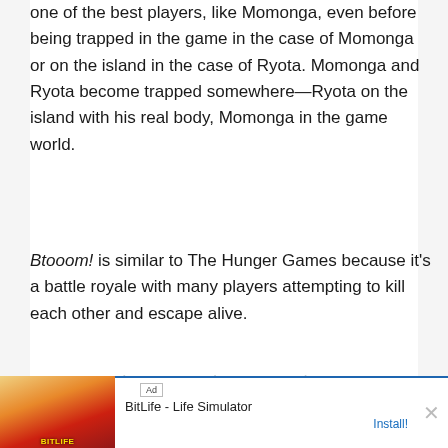one of the best players, like Momonga, even before being trapped in the game in the case of Momonga or on the island in the case of Ryota. Momonga and Ryota become trapped somewhere—Ryota on the island with his real body, Momonga in the game world.
Btooom! is similar to The Hunger Games because it's a battle royale with many players attempting to kill each other and escape alive.
3. Accel World
[Figure (screenshot): Advertisement banner for BitLife - Life Simulator showing ad label, game imagery with red/orange tones, app title and Install button with close X button]